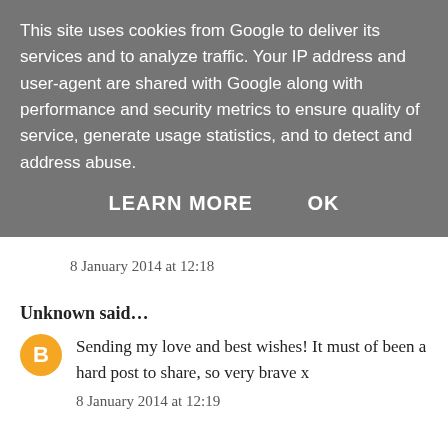This site uses cookies from Google to deliver its services and to analyze traffic. Your IP address and user-agent are shared with Google along with performance and security metrics to ensure quality of service, generate usage statistics, and to detect and address abuse.
LEARN MORE    OK
8 January 2014 at 12:18
Unknown said...
[Figure (logo): Orange circle Blogger avatar icon]
Sending my love and best wishes! It must of been a hard post to share, so very brave x
8 January 2014 at 12:19